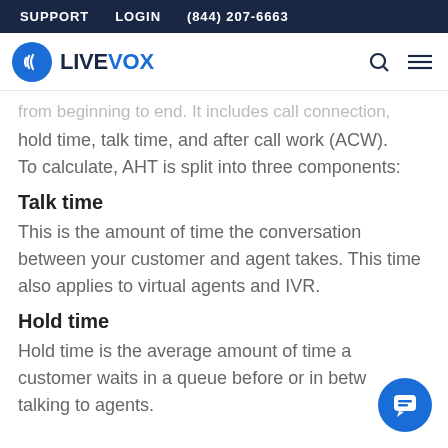SUPPORT   LOGIN   (844) 207-6663
[Figure (logo): LiveVox logo with blue circle icon and LIVEVOX wordmark]
from beginning to end. It includes call connection, hold time, talk time, and after call work (ACW). To calculate, AHT is split into three components:
Talk time
This is the amount of time the conversation between your customer and agent takes. This time also applies to virtual agents and IVR.
Hold time
Hold time is the average amount of time a customer waits in a queue before or in between talking to agents.